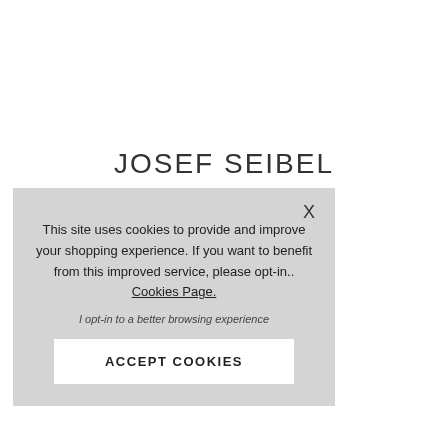JOSEF SEIBEL
Catalonia 48 | 56512-88600
This site uses cookies to provide and improve your shopping experience. If you want to benefit from this improved service, please opt-in.. Cookies Page.
I opt-in to a better browsing experience
ACCEPT COOKIES